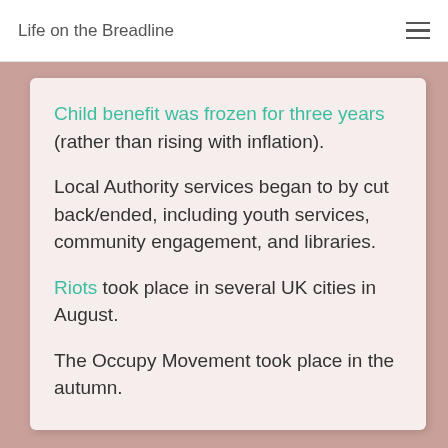Life on the Breadline
Child benefit was frozen for three years (rather than rising with inflation).
Local Authority services began to by cut back/ended, including youth services, community engagement, and libraries.
Riots took place in several UK cities in August.
The Occupy Movement took place in the autumn.